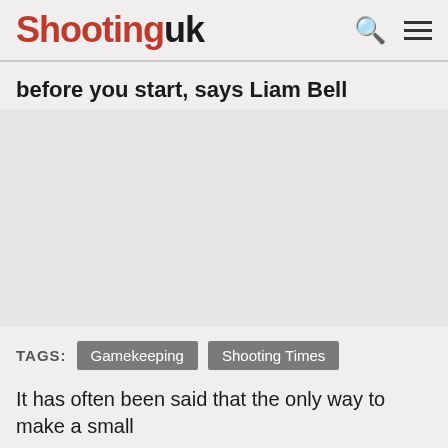Shooting uk
before you start, says Liam Bell
[Figure (other): Advertisement or blank image area]
TAGS: Gamekeeping Shooting Times
It has often been said that the only way to make a small